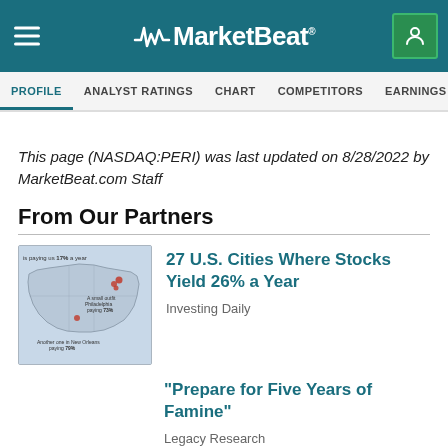MarketBeat
PROFILE | ANALYST RATINGS | CHART | COMPETITORS | EARNINGS | FINANCIALS
This page (NASDAQ:PERI) was last updated on 8/28/2022 by MarketBeat.com Staff
From Our Partners
[Figure (map): Map of U.S. showing cities with high-yielding stocks, with annotations about Philadelphia outfit paying 73% and another one in New Orleans paying 79%]
27 U.S. Cities Where Stocks Yield 26% a Year
Investing Daily
"Prepare for Five Years of Famine"
Legacy Research